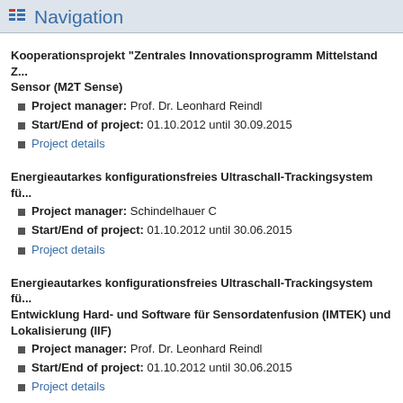Navigation
Kooperationsprojekt "Zentrales Innovationsprogramm Mittelstand Z... Sensor (M2T Sense)
Project manager: Prof. Dr. Leonhard Reindl
Start/End of project: 01.10.2012 until 30.09.2015
Project details
Energieautarkes konfigurationsfreies Ultraschall-Trackingsystem fü...
Project manager: Schindelhauer C
Start/End of project: 01.10.2012 until 30.06.2015
Project details
Energieautarkes konfigurationsfreies Ultraschall-Trackingsystem fü... Entwicklung Hard- und Software für Sensordatenfusion (IMTEK) und Lokalisierung (IIF)
Project manager: Prof. Dr. Leonhard Reindl
Start/End of project: 01.10.2012 until 30.06.2015
Project details
Intelligentes und prozessunterstützendes Werkstückträgersystem zu... Rückverfolgung in mikrotechnischen Produktionsprozessen (smartW... Sensor-/Aktorplattform